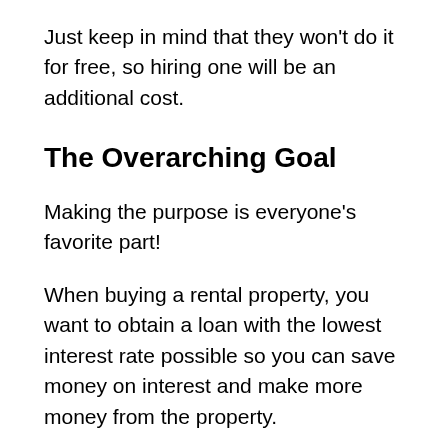Just keep in mind that they won't do it for free, so hiring one will be an additional cost.
The Overarching Goal
Making the purpose is everyone's favorite part!
When buying a rental property, you want to obtain a loan with the lowest interest rate possible so you can save money on interest and make more money from the property.
Remember that a 1% difference in interest rates may save you hundreds of dollars over the course